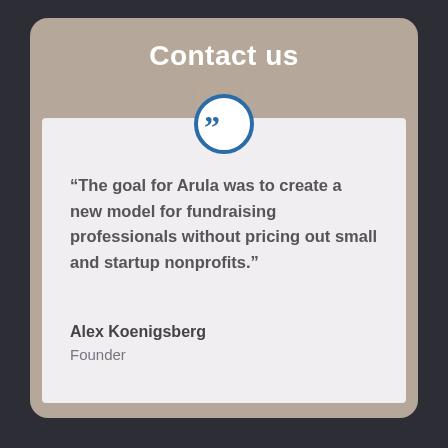Contact us
[Figure (illustration): Blue circle with double quotation marks icon]
“The goal for Arula was to create a new model for fundraising professionals without pricing out small and startup nonprofits.”
Alex Koenigsberg
Founder